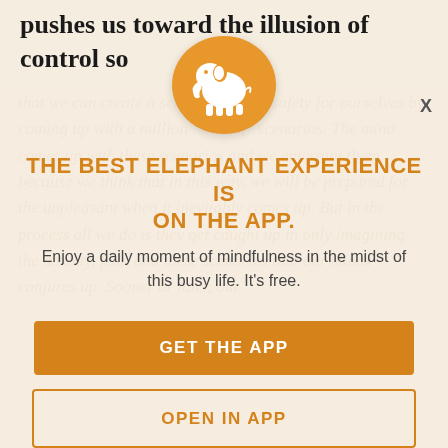pushes us toward the illusion of control so
that we can create a sense of pseudo-safety for ourselves by coming up with a million "what if" scenarios. The mind comes up with these scenarios and we entertain them because we think that in this way, we will be prepared for the unpleasant when it inevitably comes up. But in the process all we do is they get caught up in only imagining the anxiety, fear, and these scenarios that our minds conjures up. Sooner or later, our
[Figure (logo): Orange circle with white elephant silhouette logo]
THE BEST ELEPHANT EXPERIENCE IS ON THE APP.
Enjoy a daily moment of mindfulness in the midst of this busy life. It's free.
GET THE APP
OPEN IN APP